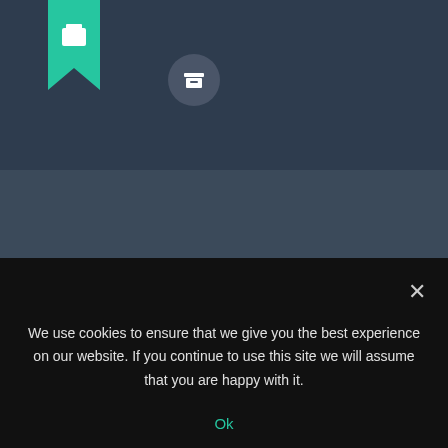[Figure (illustration): Dark blue-gray top bar with a teal bookmark icon on the left and a circular archive/box icon]
January 8, 2022
House & Garden
Previous post
Next post
We use cookies to ensure that we give you the best experience on our website. If you continue to use this site we will assume that you are happy with it.
Ok